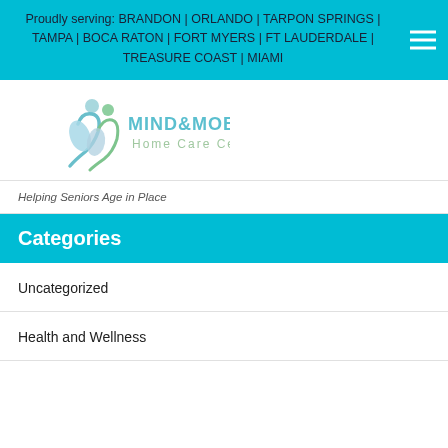Proudly serving: BRANDON | ORLANDO | TARPON SPRINGS | TAMPA | BOCA RATON | FORT MYERS | FT LAUDERDALE | TREASURE COAST | MIAMI
[Figure (logo): Mind & Mobility Home Care Centers logo — stylized figures in teal/green with text MIND&MOBILITY Home Care Centers]
Helping Seniors Age in Place
Categories
Uncategorized
Health and Wellness